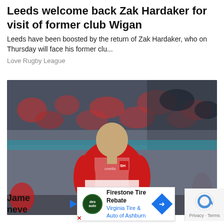Leeds welcome back Zak Hardaker for visit of former club Wigan
Leeds have been boosted by the return of Zak Hardaker, who on Thursday will face his former clu...
Love Rugby League
[Figure (photo): Rugby league player in red and white kit holding a ball, clapping, with a stadium crowd in the background]
James neve
Firestone Tire Rebate Virginia Tire & Auto of Ashburn